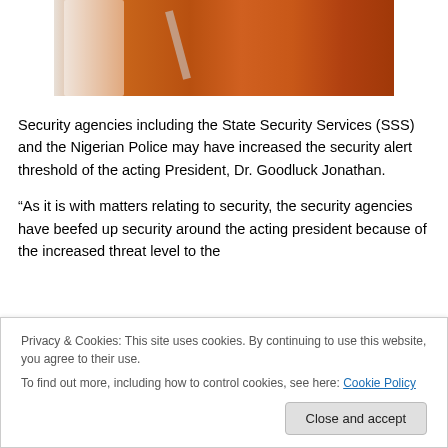[Figure (photo): Cropped photo showing a person in white clothing at a podium/lectern with orange/brown wooden panels in the background]
Security agencies including the State Security Services (SSS) and the Nigerian Police may have increased the security alert threshold of the acting President, Dr. Goodluck Jonathan.
“As it is with matters relating to security, the security agencies have beefed up security around the acting president because of the increased threat level to the
Privacy & Cookies: This site uses cookies. By continuing to use this website, you agree to their use.
To find out more, including how to control cookies, see here: Cookie Policy
Close and accept